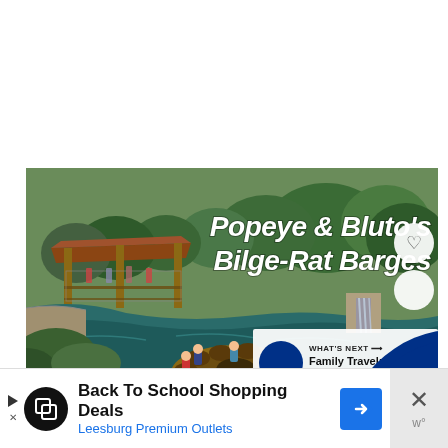[Figure (photo): Photo of Popeye & Bluto's Bilge-Rat Barges water ride at Universal Orlando. Shows a round raft with riders going through a river rapids-style channel with stone walls, waterfall, wooden pavilion structures, and lush green trees. Bold white italic text overlay reads 'Popeye & Bluto's Bilge-Rat Barges'. A heart button and share button appear on the right side. A 'WHAT'S NEXT' banner in the lower right shows Universal Orlando logo and text 'Family Travel: Insider Tips...'.]
[Figure (other): Advertisement banner: Back To School Shopping Deals - Leesburg Premium Outlets. Shows black circular icon with overlapping squares logo, blue diamond navigation icon, and a close button with X.]